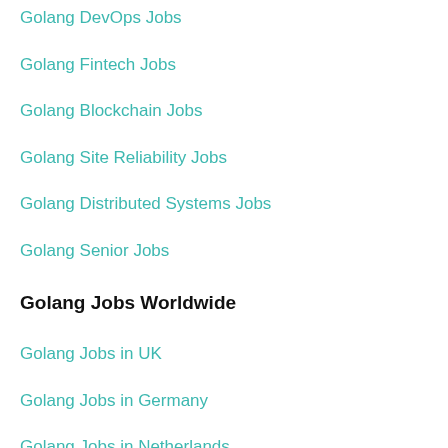Golang DevOps Jobs
Golang Fintech Jobs
Golang Blockchain Jobs
Golang Site Reliability Jobs
Golang Distributed Systems Jobs
Golang Senior Jobs
Golang Jobs Worldwide
Golang Jobs in UK
Golang Jobs in Germany
Golang Jobs in Netherlands
Golang Jobs in United States
Golang Jobs in Spain
Golang Jobs in France